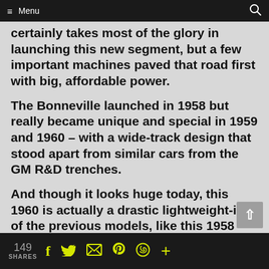Menu
certainly takes most of the glory in launching this new segment, but a few important machines paved that road first with big, affordable power.
The Bonneville launched in 1958 but really became unique and special in 1959 and 1960 – with a wide-track design that stood apart from similar cars from the GM R&D trenches.
And though it looks huge today, this 1960 is actually a drastic lightweight-ing of the previous models, like this 1958 example below.
149 SHARES